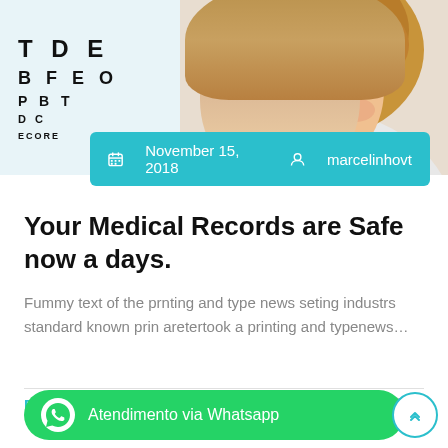[Figure (photo): Eye chart on left with letters B F E O / P B T / D C / ECORE and numbers 15, 10, 7, 4; woman with blonde hair on right]
November 15, 2018  marcelinhovt
Your Medical Records are Safe now a days.
Fummy text of the prnting and type news seting industrs standard known prin aretertook a printing and typenews…
Read More →
1
Atendimento via Whatsapp